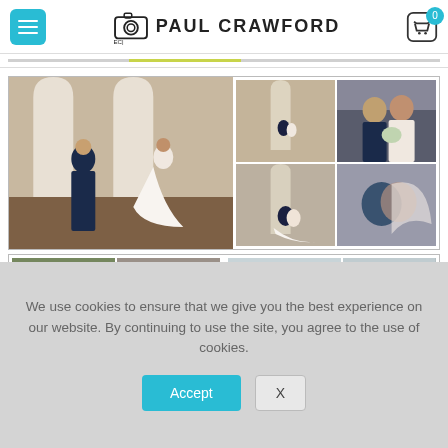[Figure (screenshot): Website header with hamburger menu button (teal), Paul Crawford photography logo with camera icon, and cart icon with badge showing 0]
[Figure (photo): Wedding photography gallery: large left photo of groom leaning against wall with arched windows and bride in white gown; right side grid of 4 smaller wedding photos including couple portraits and romantic shots]
[Figure (photo): Partially visible second gallery row with wedding party group photos and venue exterior shots]
We use cookies to ensure that we give you the best experience on our website. By continuing to use the site, you agree to the use of cookies.
Accept
X